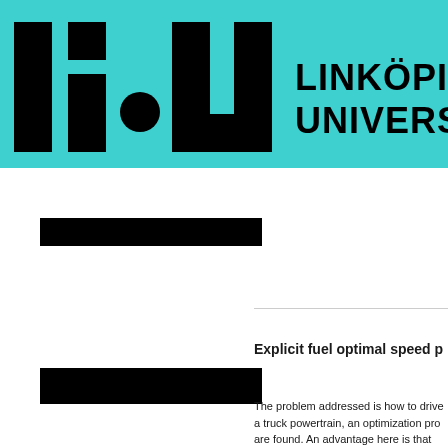[Figure (logo): Linköpings Universitet logo: stylized 'liu' letters in black on teal/cyan background with text LINKÖPINGS UNIVERSITET]
[Figure (other): Redacted black rectangle bar 1]
[Figure (other): Redacted black rectangle bar 2]
Explicit fuel optimal speed p
The problem addressed is how to drive a truck powertrain, an optimization pro are found. An advantage here is that